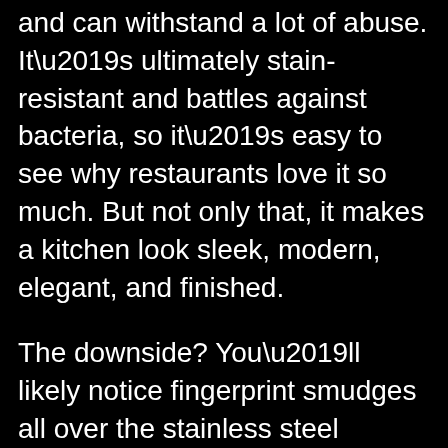and can withstand a lot of abuse. It’s ultimately stain-resistant and battles against bacteria, so it’s easy to see why restaurants love it so much. But not only that, it makes a kitchen look sleek, modern, elegant, and finished.
The downside? You’ll likely notice fingerprint smudges all over the stainless steel appliances and find yourself cleaning your appliances more often than not. Luckily, they’re easy to clean off so you can restore the appliance to its former shiny glory, and